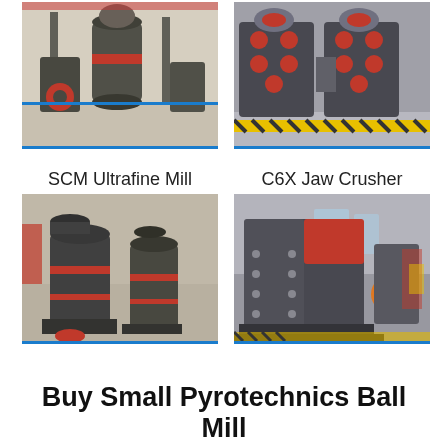[Figure (photo): Industrial mill machine in a factory hall, gray machinery with red accent elements, Chinese factory setting]
[Figure (photo): C6X Jaw Crusher machine in factory, large gray industrial crusher with red and orange accents, yellow-black safety border on floor]
SCM Ultrafine Mill
[Figure (photo): SCM Ultrafine Mill machinery in factory setting, dark gray industrial mills with red accent rings]
C6X Jaw Crusher
[Figure (photo): C6X Jaw Crusher close-up in factory, large gray and orange industrial jaw crusher machine]
Buy Small Pyrotechnics Ball Mill